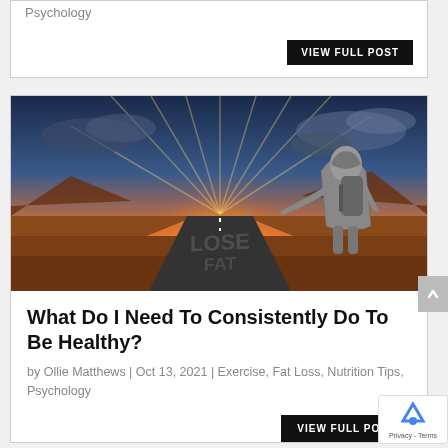Psychology
VIEW FULL POST
[Figure (photo): Person with backpack and hoodie standing on a desert road at sunset with text 'LOSE FAT' written on the road surface, dramatic sunrays in sky]
What Do I Need To Consistently Do To Be Healthy?
by Ollie Matthews | Oct 13, 2021 | Exercise, Fat Loss, Nutrition Tips, Psychology
VIEW FULL POST